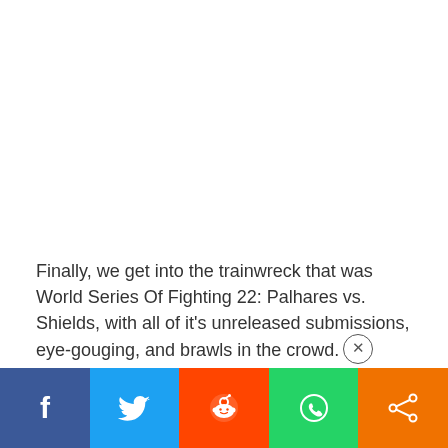Finally, we get into the trainwreck that was World Series Of Fighting 22: Palhares vs. Shields, with all of it's unreleased submissions, eye-gouging, and brawls in the crowd.
[Figure (infographic): Social media share bar with five buttons: Facebook (dark blue), Twitter (light blue), Reddit (orange-red), WhatsApp (green), Share (orange)]